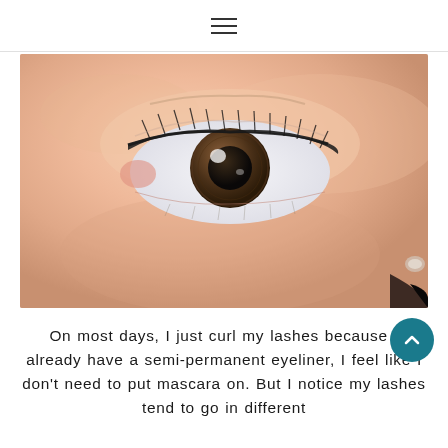≡ (hamburger menu icon)
[Figure (photo): Close-up macro photograph of a human eye with brown iris, subtle eyeliner, and light eyelashes on fair skin. The eye is centered in the upper portion of the frame with skin visible below.]
On most days, I just curl my lashes because I already have a semi-permanent eyeliner, I feel like I don't need to put mascara on. But I notice my lashes tend to go in different